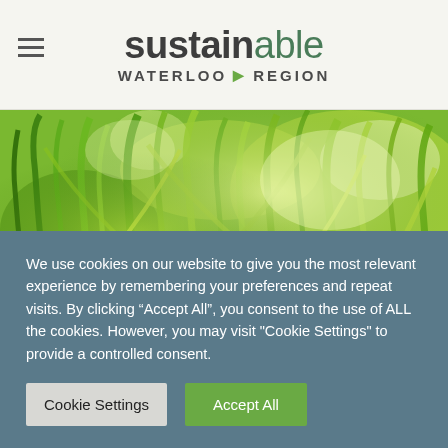sustainable WATERLOO REGION
[Figure (photo): Close-up photograph of green grass blades with bright sunlight, vibrant green tones]
When we started discussing the possibility of a Sustainable
We use cookies on our website to give you the most relevant experience by remembering your preferences and repeat visits. By clicking “Accept All”, you consent to the use of ALL the cookies. However, you may visit "Cookie Settings" to provide a controlled consent.
Cookie Settings | Accept All